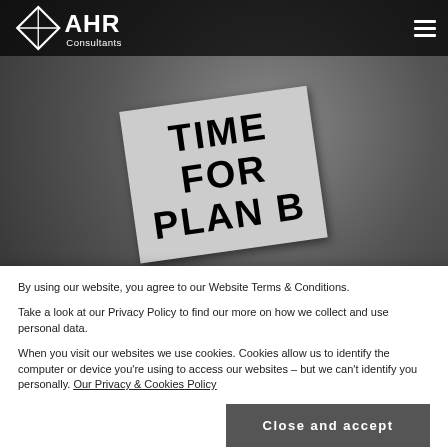AHR Consultants
[Figure (photo): Dark background with a handwritten note on grey paper reading 'TIME FOR PLAN B' placed on a clock face]
OCTOBER 8, 2021
Preparing for 'Plan B' – Have you considered mandatory certification?
By using our website, you agree to our Website Terms & Conditions.
Take a look at our Privacy Policy to find our more on how we collect and use personal data.
When you visit our websites we use cookies. Cookies allow us to identify the computer or device you're using to access our websites – but we can't identify you personally. Our Privacy & Cookies Policy
Close and accept